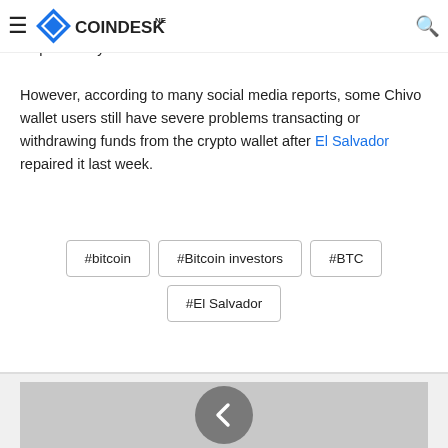CoinDesk News
On introduction day, the Chivo wallet was momentarily inactive, as previously announced. However, according to many social media reports, some Chivo wallet users still have severe problems transacting or withdrawing funds from the crypto wallet after El Salvador repaired it last week.
#bitcoin
#Bitcoin investors
#BTC
#El Salvador
[Figure (photo): Gray placeholder image area with a circular back navigation button]